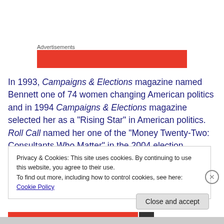Advertisements
[Figure (other): Red advertisement banner block]
In 1993, Campaigns & Elections magazine named Bennett one of 74 women changing American politics and in 1994 Campaigns & Elections magazine selected her as a "Rising Star" in American politics. Roll Call named her one of the "Money Twenty-Two: Consultants Who Matter" in the 2004 election.  National Journal's Hotline Consultant
Privacy & Cookies: This site uses cookies. By continuing to use this website, you agree to their use.
To find out more, including how to control cookies, see here: Cookie Policy
Close and accept